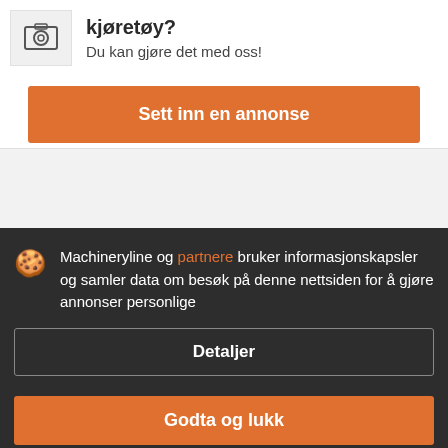[Figure (screenshot): Camera/photo icon in a light grey box]
kjøretøy?
Du kan gjøre det med oss!
Sett inn en annonse
Machineryline og partnere bruker informasjonskapsler og samler data om besøk på denne nettsiden for å gjøre annonser personlige
Detaljer
Godta og lukk